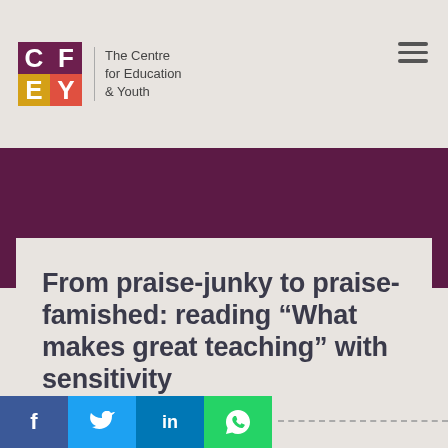The Centre for Education & Youth
[Figure (logo): CFEY logo with coloured letter blocks (C, F, E, Y) followed by text 'The Centre for Education & Youth']
From praise-junky to praise-famished: reading “What makes great teaching” with sensitivity
31st October 2014